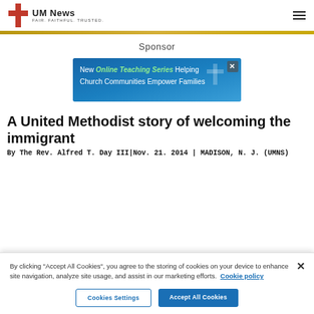UM News FAIR. FAITHFUL. TRUSTED.
Sponsor
[Figure (illustration): Advertisement banner: New Online Teaching Series Helping Church Communities Empower Families]
A United Methodist story of welcoming the immigrant
By The Rev. Alfred T. Day III|Nov. 21. 2014 | MADISON, N. J. (UMNS)
By clicking "Accept All Cookies", you agree to the storing of cookies on your device to enhance site navigation, analyze site usage, and assist in our marketing efforts. Cookie policy
Cookies Settings | Accept All Cookies